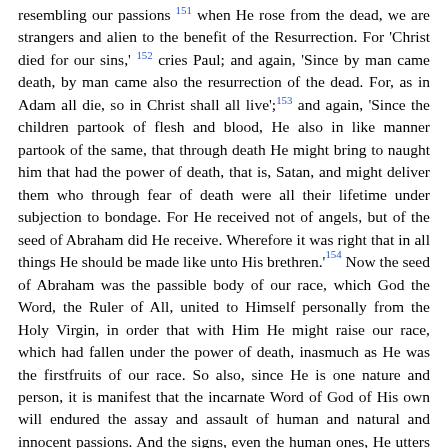resembling our passions 151 when He rose from the dead, we are strangers and alien to the benefit of the Resurrection. For 'Christ died for our sins,' 152 cries Paul; and again, 'Since by man came death, by man came also the resurrection of the dead. For, as in Adam all die, so in Christ shall all live'; 153 and again, 'Since the children partook of flesh and blood, He also in like manner partook of the same, that through death He might bring to naught him that had the power of death, that is, Satan, and might deliver them who through fear of death were all their lifetime under subjection to bondage. For He received not of angels, but of the seed of Abraham did He receive. Wherefore it was right that in all things He should be made like unto His brethren.' 154 Now the seed of Abraham was the passible body of our race, which God the Word, the Ruler of All, united to Himself personally from the Holy Virgin, in order that with Him He might raise our race, which had fallen under the power of death, inasmuch as He was the firstfruits of our race. So also, since He is one nature and person, it is manifest that the incarnate Word of God of His own will endured the assay and assault of human and natural and innocent passions. And the signs, even the human ones, He utters in a divine fashion (?), 155 and performs some of them in a manner befitting God and some in human fashion. And we do not on account of the difference of the energies and the utterances and the miracles and the passions fall into the division of the two natures after the